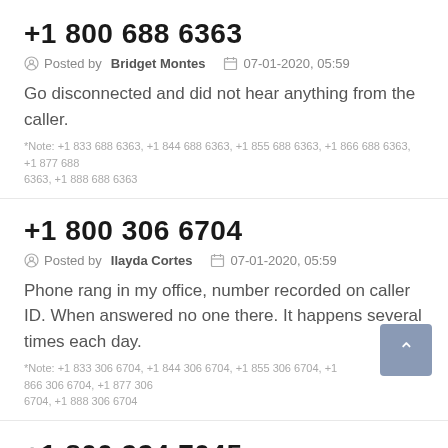+1 800 688 6363
Posted by Bridget Montes   07-01-2020, 05:59
Go disconnected and did not hear anything from the caller.
*Note: +1 833 688 6363, +1 844 688 6363, +1 855 688 6363, +1 866 688 6363, +1 877 688 6363, +1 888 688 6363
+1 800 306 6704
Posted by Ilayda Cortes   07-01-2020, 05:59
Phone rang in my office, number recorded on caller ID. When answered no one there. It happens several times each day.
*Note: +1 833 306 6704, +1 844 306 6704, +1 855 306 6704, +1 866 306 6704, +1 877 306 6704, +1 888 306 6704
+1 800 924 7045